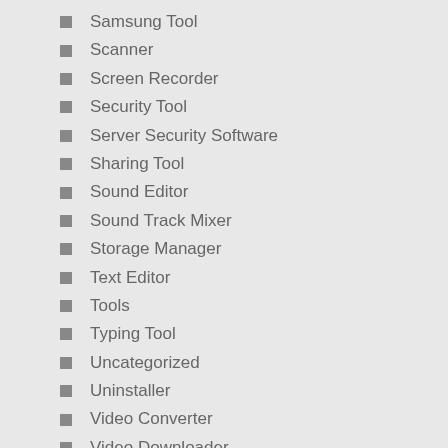Samsung Tool
Scanner
Screen Recorder
Security Tool
Server Security Software
Sharing Tool
Sound Editor
Sound Track Mixer
Storage Manager
Text Editor
Tools
Typing Tool
Uncategorized
Uninstaller
Video Converter
Video Downloader
Video Editor